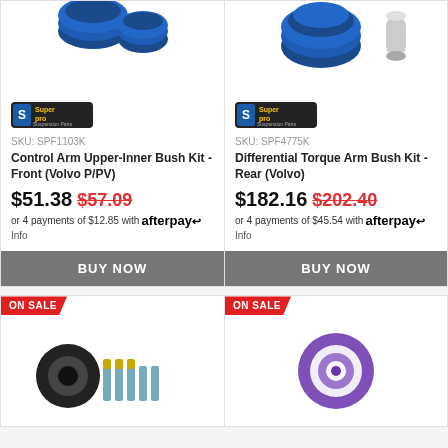[Figure (photo): Blue polyurethane bushings product photo for Control Arm Upper-Inner Bush Kit]
[Figure (logo): Superpro brand logo - left card]
SKU: SPF1103K
Control Arm Upper-Inner Bush Kit - Front (Volvo P/PV)
$51.38  $57.09
or 4 payments of $12.85 with afterpay Info
BUY NOW
[Figure (photo): Blue polyurethane bushings product photo for Differential Torque Arm Bush Kit]
[Figure (logo): Superpro brand logo - right card]
SKU: SPF4775K
Differential Torque Arm Bush Kit - Rear (Volvo)
$182.16  $202.40
or 4 payments of $45.54 with afterpay Info
BUY NOW
ON SALE
[Figure (photo): Black bushing with bolts and hardware kit product photo]
ON SALE
[Figure (photo): Purple/blue circular bushing product photo]